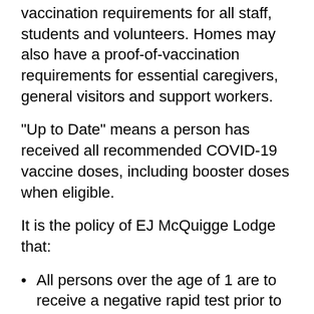vaccination requirements for all staff, students and volunteers. Homes may also have a proof-of-vaccination requirements for essential caregivers, general visitors and support workers.
"Up to Date" means a person has received all recommended COVID-19 vaccine doses, including booster doses when eligible.
It is the policy of EJ McQuigge Lodge that:
All persons over the age of 1 are to receive a negative rapid test prior to entry to the building, past the testing area
All persons entering the building must pass Screening questions
Essential Caregivers are to have their vaccination receipts on file with the office
General Visitors are to have their vaccination